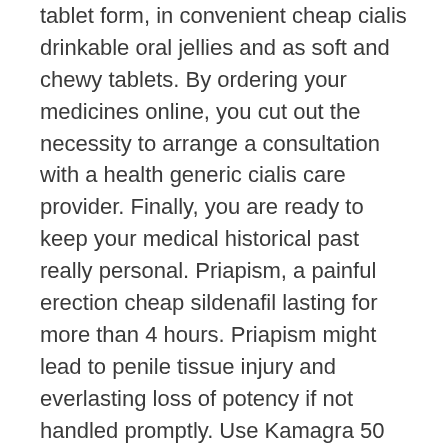tablet form, in convenient cheap cialis drinkable oral jellies and as soft and chewy tablets. By ordering your medicines online, you cut out the necessity to arrange a consultation with a health generic cialis care provider. Finally, you are ready to keep your medical historical past really personal. Priapism, a painful erection cheap sildenafil lasting for more than 4 hours. Priapism might lead to penile tissue injury and everlasting loss of potency if not handled promptly. Use Kamagra 50 MG Tablet with viagra online caution in such conditions. viagra online.
Sildenafil 20mg If an erection cialis online persists longer than four hours, you should search immediate medical assistance. Kamagra Gold one hundred MG Tablet may cause priapism in some folks. Use generic viagra Kamagra Gold a hundred MG Tablet with warning in